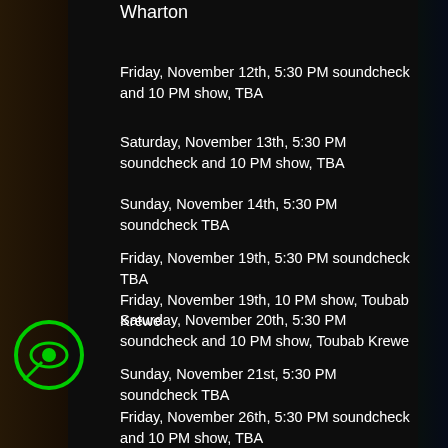Wharton
Friday, November 12th, 5:30 PM soundcheck and 10 PM show, TBA
Saturday, November 13th, 5:30 PM soundcheck and 10 PM show, TBA
Sunday, November 14th, 5:30 PM soundcheck TBA
Friday, November 19th, 5:30 PM soundcheck TBA
Friday, November 19th, 10 PM show, Toubab Krewe
Saturday, November 20th, 5:30 PM soundcheck and 10 PM show, Toubab Krewe
Sunday, November 21st, 5:30 PM soundcheck TBA
Friday, November 26th, 5:30 PM soundcheck and 10 PM show, TBA
Saturday, November 27th, 5:30 PM soundcheck and 10 PM show, TBA
Sunday, November 28th, 5:30 PM soundcheck